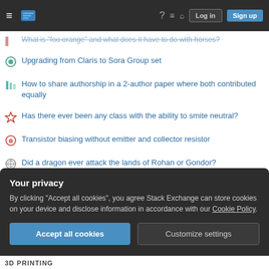Stack Exchange navigation bar with Log in and Sign up buttons
What is "foo orange" and what does it have to do with horses?
Upgrading from Claris to Sora Group set
How to share authorship in a 2-author paper where both contributed equally
Has there ever been any class with the ability to smite neutral?
Transistor biasing without emitter and collector resistor
Did a dragon ever attack the lands of Rohan or Gondor?
Please make my table perfect with long caption
Why are there five chromatic dragons and not four?
Did Tolkien communicate whether Glorfindel ever reported the
Your privacy
By clicking "Accept all cookies", you agree Stack Exchange can store cookies on your device and disclose information in accordance with our Cookie Policy.
Accept all cookies   Customize settings
3D PRINTING